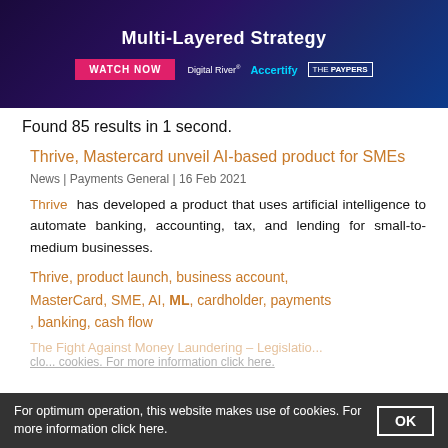[Figure (screenshot): Dark blue/purple banner advertisement showing 'Multi-Layered Strategy' with a WATCH NOW button in pink/red, and logos for Digital River, Accertify, and The Paypers]
Found 85 results in 1 second.
Thrive, Mastercard unveil AI-based product for SMEs
News | Payments General | 16 Feb 2021
Thrive has developed a product that uses artificial intelligence to automate banking, accounting, tax, and lending for small-to-medium businesses.
Thrive, product launch, business account, MasterCard, SME, AI, ML, cardholder, payments, banking, cash flow
The Fight Against Money Laundering – Legislation, ch... cookies. For more information click here.
For optimum operation, this website makes use of cookies. For more information click here.